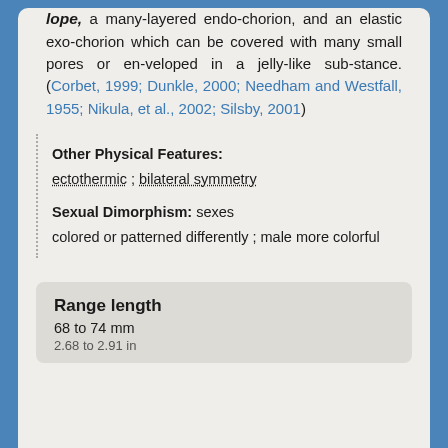lope, a many-layered endochorion, and an elastic exochorion which can be covered with many small pores or enveloped in a jelly-like substance. (Corbet, 1999; Dunkle, 2000; Needham and Westfall, 1955; Nikula, et al., 2002; Silsby, 2001)
Other Physical Features:
ectothermic ; bilateral symmetry
Sexual Dimorphism:
sexes colored or patterned differently ; male more colorful
Range length
68 to 74 mm